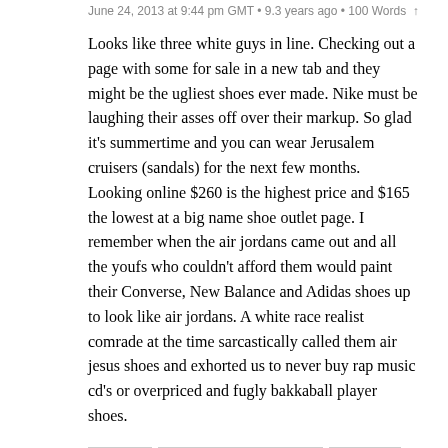June 24, 2013 at 9:44 pm GMT • 9.3 years ago • 100 Words ↑
Looks like three white guys in line. Checking out a page with some for sale in a new tab and they might be the ugliest shoes ever made. Nike must be laughing their asses off over their markup. So glad it's summertime and you can wear Jerusalem cruisers (sandals) for the next few months. Looking online $260 is the highest price and $165 the lowest at a big name shoe outlet page. I remember when the air jordans came out and all the youfs who couldn't afford them would paint their Converse, New Balance and Adidas shoes up to look like air jordans. A white race realist comrade at the time sarcastically called them air jesus shoes and exhorted us to never buy rap music cd's or overpriced and fugly bakkaball player shoes.
REPLY  AGREE/DISAGREE/ETC.  MORE...
23. Anonymous • Disclaimer says: June 24, 2013 at 9:52 pm GMT • 9.3 years ago • 100 Words ↑
Anonymous at 1358hrs it doesn't surprise me as it took place in